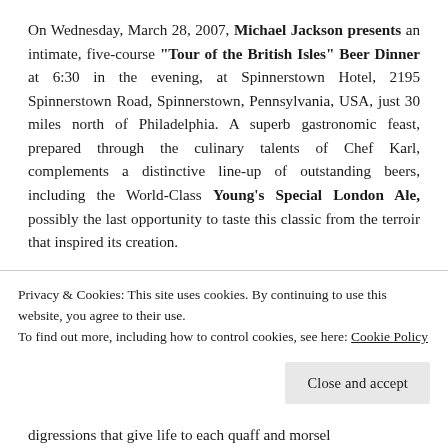On Wednesday, March 28, 2007, Michael Jackson presents an intimate, five-course “Tour of the British Isles” Beer Dinner at 6:30 in the evening, at Spinnerstown Hotel, 2195 Spinnerstown Road, Spinnerstown, Pennsylvania, USA, just 30 miles north of Philadelphia. A superb gastronomic feast, prepared through the culinary talents of Chef Karl, complements a distinctive line-up of outstanding beers, including the World-Class Young’s Special London Ale, possibly the last opportunity to taste this classic from the terroir that inspired its creation.
Between the welcoming, stimulant qualities of the pre-dinner aperitif through the satiating, bolder flavors of the after-dinner digestif, delicate flavors of wild regional herbs...
Privacy & Cookies: This site uses cookies. By continuing to use this website, you agree to their use.
To find out more, including how to control cookies, see here: Cookie Policy
Close and accept
digressions that give life to each quaff and morsel